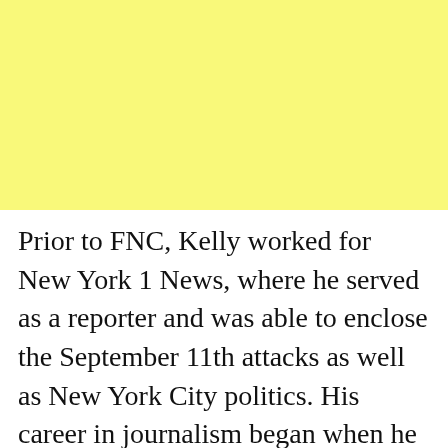[Figure (other): Yellow rectangle placeholder block occupying the top portion of the page]
Prior to FNC, Kelly worked for New York 1 News, where he served as a reporter and was able to enclose the September 11th attacks as well as New York City politics. His career in journalism began when he worked for News Channel 34, the ABC affiliate in Binghamton, New York where he was serving as a reporter/anchor